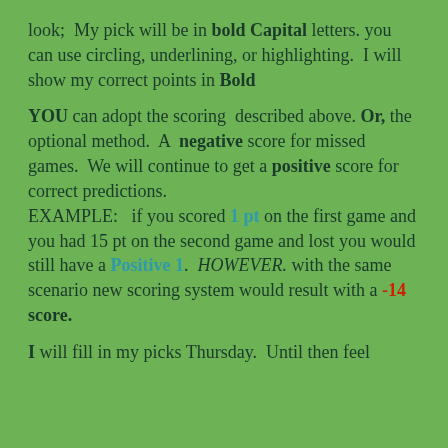look;  My pick will be in bold Capital letters. you can use circling, underlining, or highlighting.  I will show my correct points in Bold
YOU can adopt the scoring  described above. Or, the optional method.  A  negative score for missed games.  We will continue to get a positive score for correct predictions. EXAMPLE:   if you scored 1 pt on the first game and you had 15 pt on the second game and lost you would still have a Positive 1.  HOWEVER. with the same scenario new scoring system would result with a -14 score.
I will fill in my picks Thursday.  Until then feel